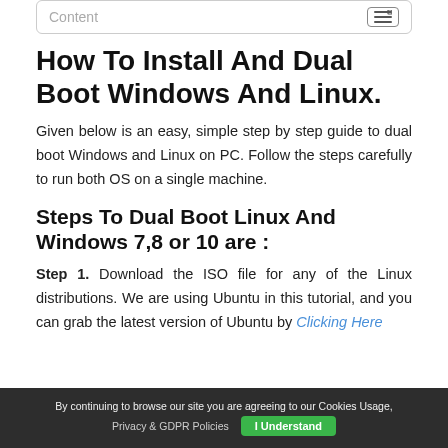Content
How To Install And Dual Boot Windows And Linux.
Given below is an easy, simple step by step guide to dual boot Windows and Linux on PC. Follow the steps carefully to run both OS on a single machine.
Steps To Dual Boot Linux And Windows 7,8 or 10 are :
Step 1. Download the ISO file for any of the Linux distributions. We are using Ubuntu in this tutorial, and you can grab the latest version of Ubuntu by Clicking Here
By continuing to browse our site you are agreeing to our Cookies Usage, Privacy & GDPR Policies  I Understand